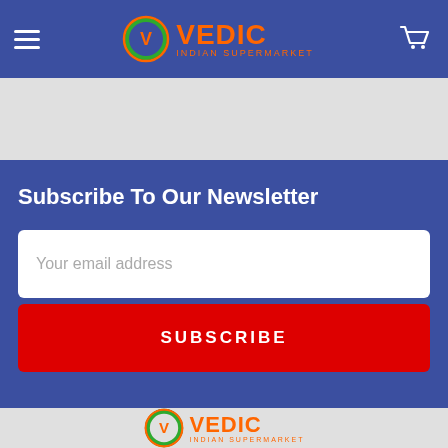[Figure (logo): Vedic Indian Supermarket logo with hamburger menu and cart icon in blue header bar]
Subscribe To Our Newsletter
Your email address
SUBSCRIBE
[Figure (logo): Vedic Indian Supermarket logo in footer area on gray background]